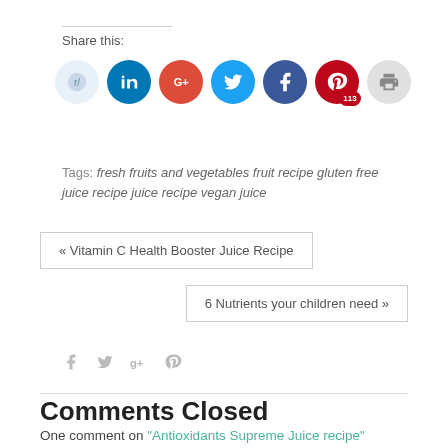Share this:
[Figure (infographic): Social sharing icons: Reddit (light blue), LinkedIn (blue), Google+ (red-orange), Twitter (blue), Facebook (dark blue), Pinterest with 113 saves badge (red), Print (gray)]
Tags: fresh fruits and vegetables fruit recipe gluten free juice recipe juice recipe vegan juice
« Vitamin C Health Booster Juice Recipe
6 Nutrients your children need »
[Figure (infographic): Small social sharing icons: Facebook, Twitter, Google+, Pinterest]
Comments Closed
One comment on "Antioxidants Supreme Juice recipe"